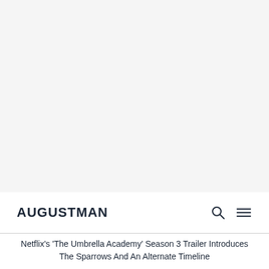[Figure (other): Large blank/light gray advertisement or image placeholder area at the top of the page]
AUGUSTMAN
Netflix's 'The Umbrella Academy' Season 3 Trailer Introduces The Sparrows And An Alternate Timeline